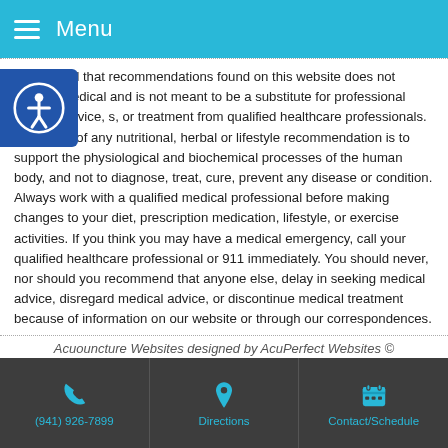Menu
Be advised that recommendations found on this website does not provide medical and is not meant to be a substitute for professional medical advice, s, or treatment from qualified healthcare professionals. The intent of any nutritional, herbal or lifestyle recommendation is to support the physiological and biochemical processes of the human body, and not to diagnose, treat, cure, prevent any disease or condition. Always work with a qualified medical professional before making changes to your diet, prescription medication, lifestyle, or exercise activities. If you think you may have a medical emergency, call your qualified healthcare professional or 911 immediately. You should never, nor should you recommend that anyone else, delay in seeking medical advice, disregard medical advice, or discontinue medical treatment because of information on our website or through our correspondences.
Acuouncture Websites designed by AcuPerfect Websites ©
(941) 926-7899 | Directions | Contact/Schedule